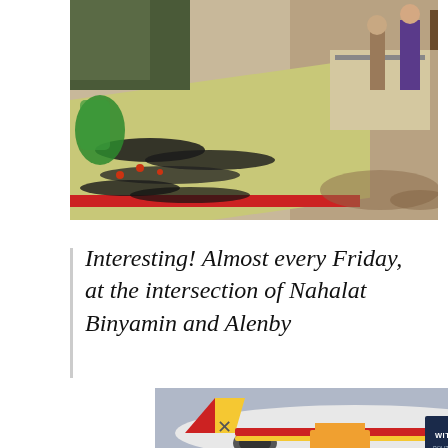[Figure (photo): Outdoor market stall with beaded jewelry, necklaces and accessories spread on a table covered with a yellow-green cloth with red edge. People visible in background on a sunny day.]
Interesting! Almost every Friday, at the intersection of Nahalat Binyamin and Alenby
[Figure (photo): Advertisement banner showing an airplane being loaded with cargo. Text reads: WITHOUT REGARD TO POLITICS, RELIGION OR ABILITY TO PAY]